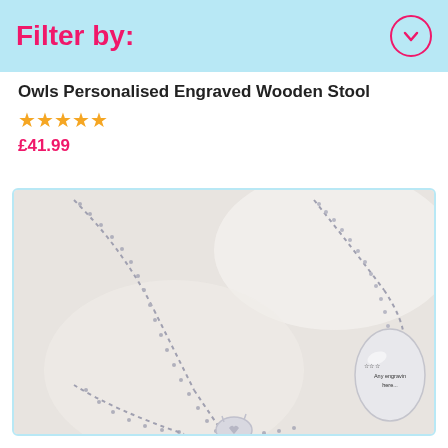Filter by:
Owls Personalised Engraved Wooden Stool
★★★★★
£41.99
[Figure (photo): Close-up photo of silver chain necklaces on a light background. One necklace shows a small oval engraved pendant reading 'Any engraving here...']